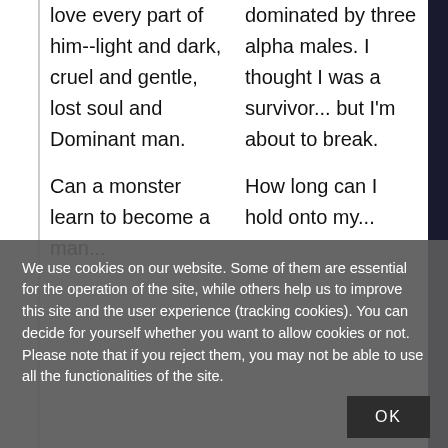love every part of him--light and dark, cruel and gentle, lost soul and Dominant man.
dominated by three alpha males. I thought I was a survivor... but I'm about to break.
Can a monster learn to become a man...
How long can I hold onto my...
We use cookies on our website. Some of them are essential for the operation of the site, while others help us to improve this site and the user experience (tracking cookies). You can decide for yourself whether you want to allow cookies or not. Please note that if you reject them, you may not be able to use all the functionalities of the site.